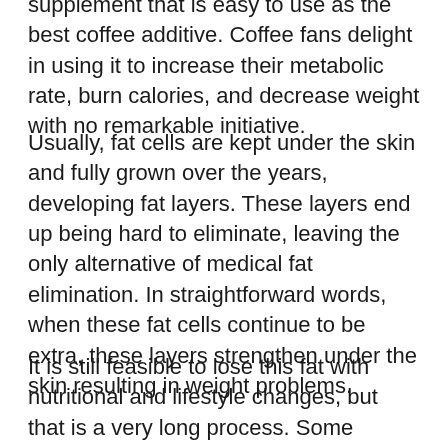supplement that is easy to use as the best coffee additive. Coffee fans delight in using it to increase their metabolic rate, burn calories, and decrease weight with no remarkable initiative.
Usually, fat cells are kept under the skin and fully grown over the years, developing fat layers. These layers end up being hard to eliminate, leaving the only alternative of medical fat elimination. In straightforward words, when these fat cells continue to be extra, these layers strengthen under the skin resulting in weight problems.
It is still feasible to lose this fat with nutritional and lifestyle changes, but that is a very long process. Some people can dissolve